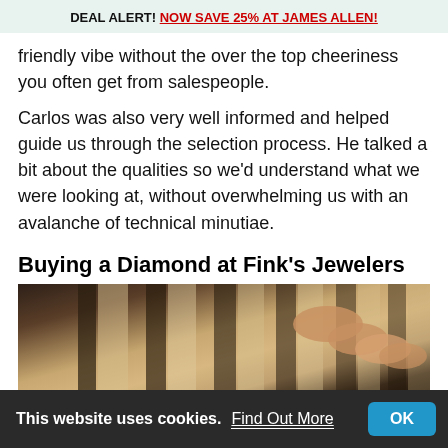DEAL ALERT! NOW SAVE 25% AT JAMES ALLEN!
friendly vibe without the over the top cheeriness you often get from salespeople.
Carlos was also very well informed and helped guide us through the selection process. He talked a bit about the qualities so we'd understand what we were looking at, without overwhelming us with an avalanche of technical minutiae.
Buying a Diamond at Fink's Jewelers
[Figure (photo): A close-up photograph of a hand/fingers, likely showing a ring or jewelry, with a light/cream background.]
This website uses cookies. Find Out More OK